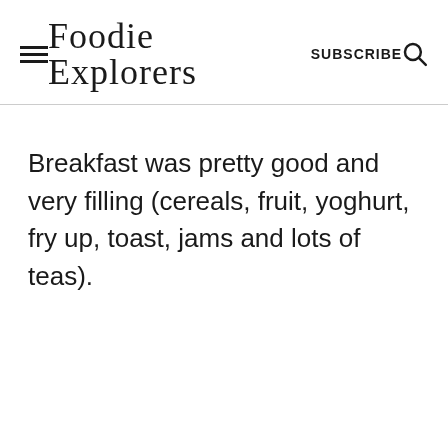Foodie Explorers  SUBSCRIBE
Breakfast was pretty good and very filling (cereals, fruit, yoghurt, fry up, toast, jams and lots of teas).